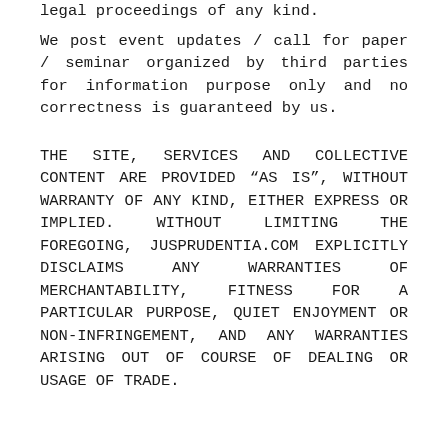legal proceedings of any kind.
We post event updates / call for paper / seminar organized by third parties for information purpose only and no correctness is guaranteed by us.
THE SITE, SERVICES AND COLLECTIVE CONTENT ARE PROVIDED “AS IS”, WITHOUT WARRANTY OF ANY KIND, EITHER EXPRESS OR IMPLIED. WITHOUT LIMITING THE FOREGOING, JUSPRUDENTIA.COM EXPLICITLY DISCLAIMS ANY WARRANTIES OF MERCHANTABILITY, FITNESS FOR A PARTICULAR PURPOSE, QUIET ENJOYMENT OR NON-INFRINGEMENT, AND ANY WARRANTIES ARISING OUT OF COURSE OF DEALING OR USAGE OF TRADE.